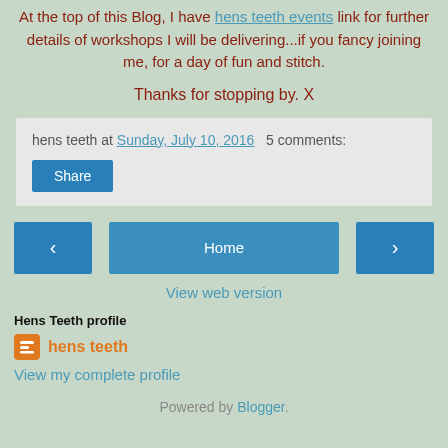At the top of this Blog, I have hens teeth events link for further details of workshops I will be delivering...if you fancy joining me, for a day of fun and stitch.
Thanks for stopping by. X
hens teeth at Sunday, July 10, 2016   5 comments:
Share
< Home >
View web version
Hens Teeth profile
hens teeth
View my complete profile
Powered by Blogger.